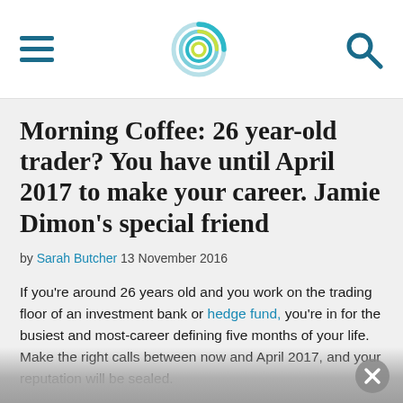[Navigation header with hamburger menu, site logo, and search icon]
Morning Coffee: 26 year-old trader? You have until April 2017 to make your career. Jamie Dimon's special friend
by Sarah Butcher 13 November 2016
If you're around 26 years old and you work on the trading floor of an investment bank or hedge fund, you're in for the busiest and most-career defining five months of your life. Make the right calls between now and April 2017, and your reputation will be sealed.
The reason, needless to say, is Donald Trump. As Bloomberg points out, markets are balanced on some precarious assumptions. Will Trump the president prove...